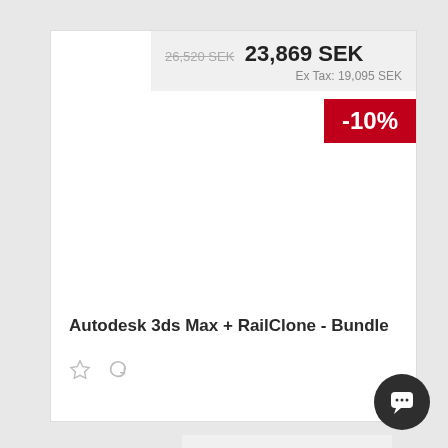26,520 SEK  23,869 SEK
Ex Tax: 19,095 SEK
-10%
Autodesk 3ds Max + RailClone - Bundle
68,44...
Ex Tax: 5...